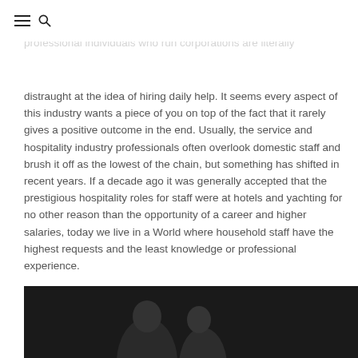[menu icon] [search icon]
distraught at the idea of hiring daily help. It seems every aspect of this industry wants a piece of you on top of the fact that it rarely gives a positive outcome in the end. Usually, the service and hospitality industry professionals often overlook domestic staff and brush it off as the lowest of the chain, but something has shifted in recent years. If a decade ago it was generally accepted that the prestigious hospitality roles for staff were at hotels and yachting for no other reason than the opportunity of a career and higher salaries, today we live in a World where household staff have the highest requests and the least knowledge or professional experience.
[Figure (photo): Dark background photo showing two people, partially visible at bottom of page]